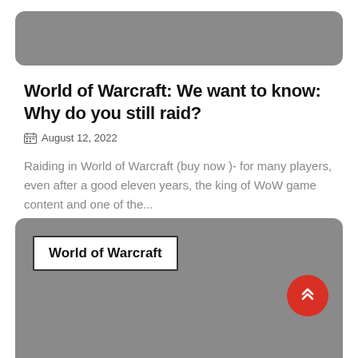[Figure (photo): Gray rounded rectangle image placeholder at top of page]
World of Warcraft: We want to know: Why do you still raid?
August 12, 2022
Raiding in World of Warcraft (buy now )- for many players, even after a good eleven years, the king of WoW game content and one of the...
[Figure (screenshot): Gray rounded rectangle card with 'World of Warcraft' label box and red scroll-to-top button]